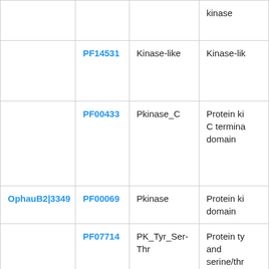|  | Pfam ID | Name | Description |
| --- | --- | --- | --- |
|  | PF14531 | Kinase-like | Kinase-like |
|  | PF00433 | Pkinase_C | Protein ki… C termina… domain |
| OphauB2|3349 | PF00069 | Pkinase | Protein ki… domain |
|  | PF07714 | PK_Tyr_Ser-Thr | Protein ty… and serine/thr… kinase |
|  | PF14531 | Kinase-like | Kinase-lik… |